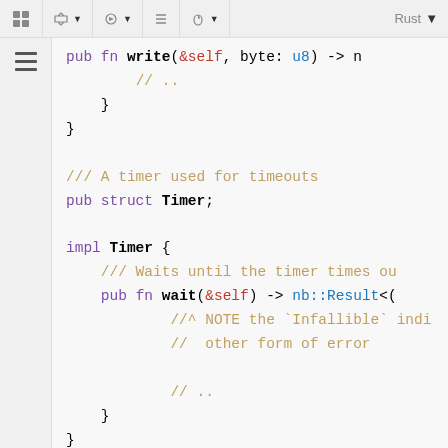[Figure (screenshot): IDE/browser toolbar with icons: puzzle piece, cube with dropdown, settings with dropdown, flag, leaf with dropdown, and Rust language selector]
pub fn write(&self, byte: u8) -> n
        // ..
    }
}

/// A timer used for timeouts
pub struct Timer;

impl Timer {
    /// Waits until the timer times ou
    pub fn wait(&self) -> nb::Result<(
            //^ NOTE the `Infallible` indi
            //  other form of error

            // ..
    }
}